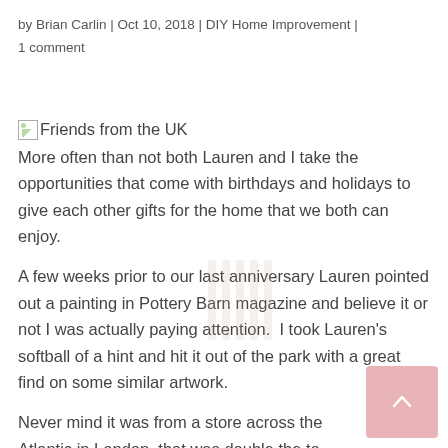by Brian Carlin | Oct 10, 2018 | DIY Home Improvement | 1 comment
[Figure (other): Broken image placeholder labeled 'Friends from the UK']
More often than not both Lauren and I take the opportunities that come with birthdays and holidays to give each other gifts for the home that we both can enjoy.
A few weeks prior to our last anniversary Lauren pointed out a painting in Pottery Barn magazine and believe it or not I was actually paying attention.  I took Lauren's softball of a hint and hit it out of the park with a great find on some similar artwork.
Never mind it was from a store across the Atlantic in London, that was double the to...